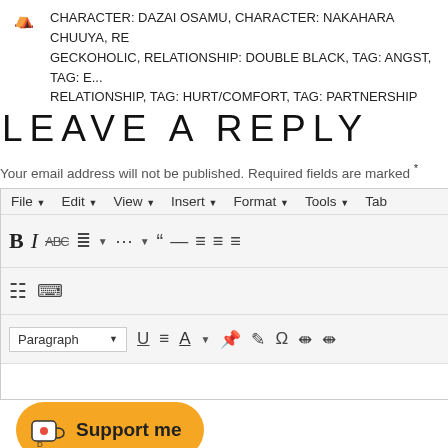CHARACTER: DAZAI OSAMU, CHARACTER: NAKAHARA CHUUYA, RELATIONSHIP: GECKOHOLIC, RELATIONSHIP: DOUBLE BLACK, TAG: ANGST, TAG: E..., RELATIONSHIP, TAG: HURT/COMFORT, TAG: PARTNERSHIP
LEAVE A REPLY
Your email address will not be published. Required fields are marked *
[Figure (screenshot): A rich text editor toolbar with menu bar (File, Edit, View, Insert, Format, Tools, Tab), formatting buttons (Bold, Italic, Strikethrough, lists, quote, dash, alignment icons, table icons), and a second row with Paragraph dropdown, Underline, Align, Font color, and other formatting controls. The editor body area is empty.]
[Figure (illustration): A Ko-fi style 'Support me' button with an orange/yellow rounded pill shape, containing a coffee cup icon with a heart and the text 'Support me'.]